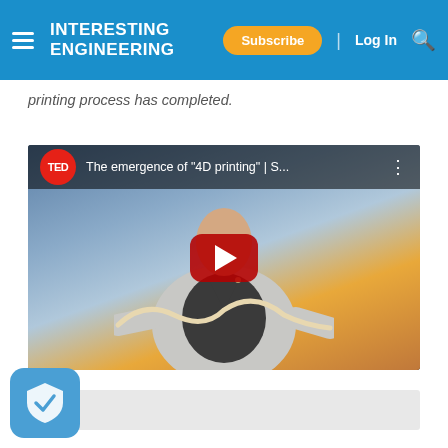Interesting Engineering | Subscribe | Log In
printing process has completed.
[Figure (screenshot): YouTube embedded video thumbnail showing a TED talk titled 'The emergence of "4D printing" | S...' with a speaker holding a rope-like 4D printed object on stage, with a red YouTube play button overlay in the center.]
[Figure (other): Gray placeholder box below the video embed]